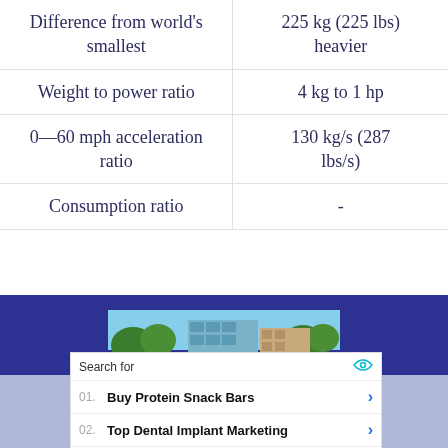|  |  |
| --- | --- |
| Difference from world's smallest | 225 kg (225 lbs) heavier |
| Weight to power ratio | 4 kg to 1 hp |
| 0—60 mph acceleration ratio | 130 kg/s (287 lbs/s) |
| Consumption ratio | - |
[Figure (photo): Street-level photo of buildings with trees, shown in a dark blue banner section]
[Figure (screenshot): Yahoo Search sponsored ad box with two results: 01. Buy Protein Snack Bars, 02. Top Dental Implant Marketing]